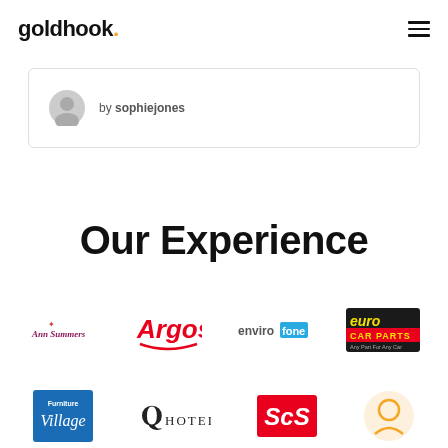goldhook.
by sophiejones
Our Experience
[Figure (logo): Ann Summers brand logo in pink/maroon script with small red star]
[Figure (logo): Argos logo in red with swoosh underline]
[Figure (logo): Envirofone logo with blue box around 'fone']
[Figure (logo): Euro Car Parts logo in yellow and red on dark background with tagline 'Any Part For Any Car']
[Figure (logo): Furniture Village logo white text on blue background with script]
[Figure (logo): QHotels logo serif text with Q symbol]
[Figure (logo): SCS Sofa Carpet Specialist logo white text on red background italic]
[Figure (logo): Circular brand logo orange/yellow]